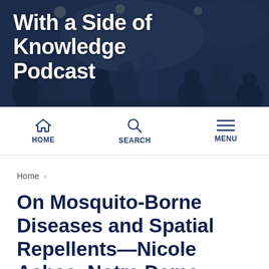[Figure (photo): Dark banner photo of people gathered at an indoor event, dimly lit with overhead lights. Text overlay reads 'With a Side of Knowledge Podcast' in large bold white letters.]
With a Side of Knowledge Podcast
HOME   SEARCH   MENU
Home ›
On Mosquito-Borne Diseases and Spatial Repellents—Nicole Achee, Notre Dame